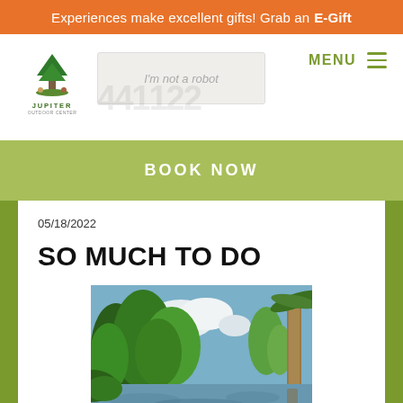Experiences make excellent gifts! Grab an E-Gift
[Figure (logo): Jupiter Outdoor Center logo with tree and animals]
I'm not a robot
MENU
BOOK NOW
05/18/2022
SO MUCH TO DO
[Figure (photo): Outdoor nature scene with river, trees, and reflections on water. A palm tree trunk is visible on the right side. Blue sky with clouds visible through the canopy.]